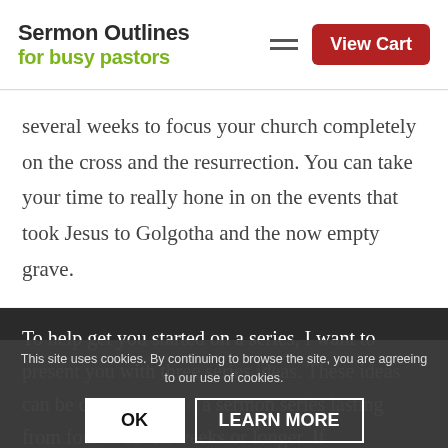Sermon Outlines for busy pastors — View Cart
several weeks to focus your church completely on the cross and the resurrection. You can take your time to really hone in on the events that took Jesus to Golgotha and the now empty grave.
To help get you started on a series, I want to present you with three series ideas. These ideas can be developed into a sermon series lasting from four to seven weeks or longer. If
This site uses cookies. By continuing to browse the site, you are agreeing to our use of cookies.
OK   LEARN MORE